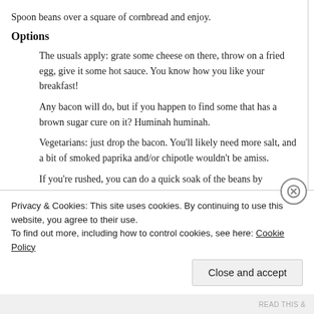Spoon beans over a square of cornbread and enjoy.
Options
The usuals apply: grate some cheese on there, throw on a fried egg, give it some hot sauce. You know how you like your breakfast!
Any bacon will do, but if you happen to find some that has a brown sugar cure on it? Huminah huminah.
Vegetarians: just drop the bacon. You'll likely need more salt, and a bit of smoked paprika and/or chipotle wouldn't be amiss.
If you're rushed, you can do a quick soak of the beans by bringing them to a boil in salted water, then letting sit off heat for an hour.
Privacy & Cookies: This site uses cookies. By continuing to use this website, you agree to their use.
To find out more, including how to control cookies, see here: Cookie Policy
Close and accept